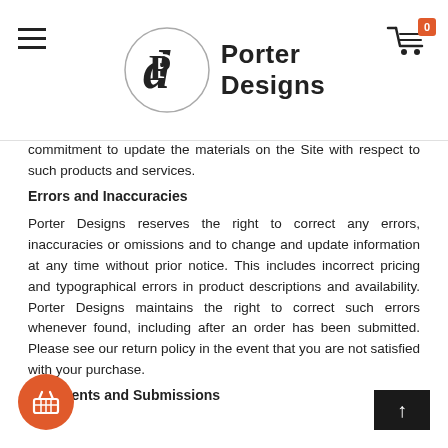[Figure (logo): Porter Designs logo — circle with stylized 'P' monogram and 'Porter Designs' text]
commitment to update the materials on the Site with respect to such products and services.
Errors and Inaccuracies
Porter Designs reserves the right to correct any errors, inaccuracies or omissions and to change and update information at any time without prior notice. This includes incorrect pricing and typographical errors in product descriptions and availability. Porter Designs maintains the right to correct such errors whenever found, including after an order has been submitted. Please see our return policy in the event that you are not satisfied with your purchase.
Comments and Submissions